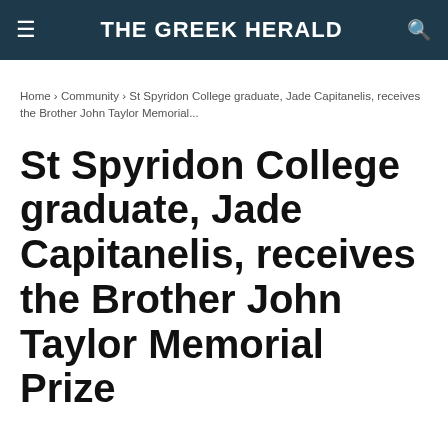THE GREEK HERALD
Home › Community › St Spyridon College graduate, Jade Capitanelis, receives the Brother John Taylor Memorial...
St Spyridon College graduate, Jade Capitanelis, receives the Brother John Taylor Memorial Prize